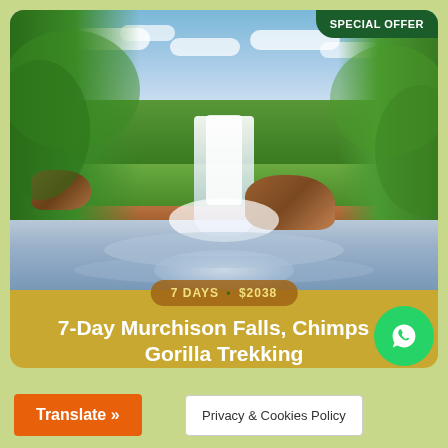[Figure (photo): Murchison Falls waterfall surrounded by lush green tropical forest, with white rushing water and rocky terrain, blue sky with clouds above]
7 DAYS • $2038
7-Day Murchison Falls, Chimps & Gorilla Trekking
RATES NEGOTIABLE REQUEST QUOTE
Translate »
Privacy & Cookies Policy